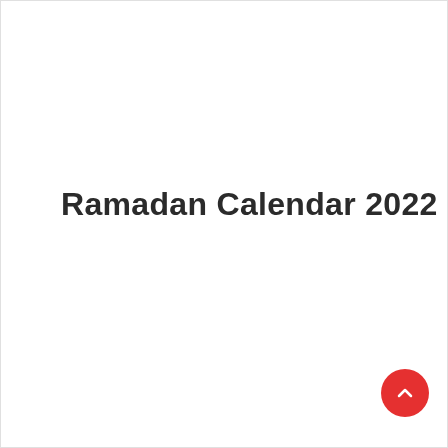Ramadan Calendar 2022
[Figure (other): Red circular floating action button with a white upward-pointing chevron arrow icon, positioned in the bottom-right corner of the page.]